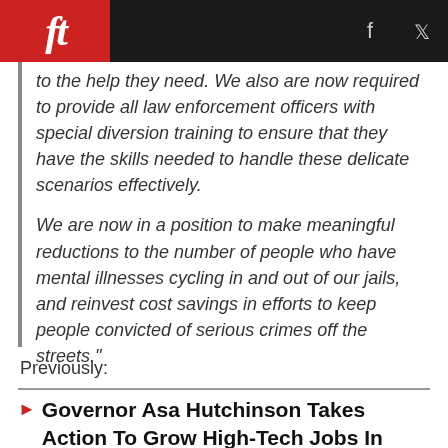ft [logo] | f | twitter
to the help they need. We also are now required to provide all law enforcement officers with special diversion training to ensure that they have the skills needed to handle these delicate scenarios effectively.

We are now in a position to make meaningful reductions to the number of people who have mental illnesses cycling in and out of our jails, and reinvest cost savings in efforts to keep people convicted of serious crimes off the streets."
Previously:
Governor Asa Hutchinson Takes Action To Grow High-Tech Jobs In Arkansas